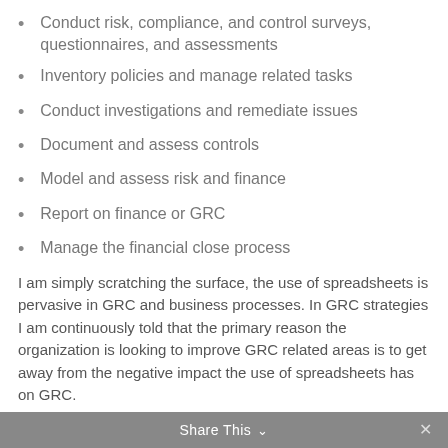Conduct risk, compliance, and control surveys, questionnaires, and assessments
Inventory policies and manage related tasks
Conduct investigations and remediate issues
Document and assess controls
Model and assess risk and finance
Report on finance or GRC
Manage the financial close process
I am simply scratching the surface, the use of spreadsheets is pervasive in GRC and business processes. In GRC strategies I am continuously told that the primary reason the organization is looking to improve GRC related areas is to get away from the negative impact the use of spreadsheets has on GRC.
One organization in which I wrote their GRC RFP told
Share This